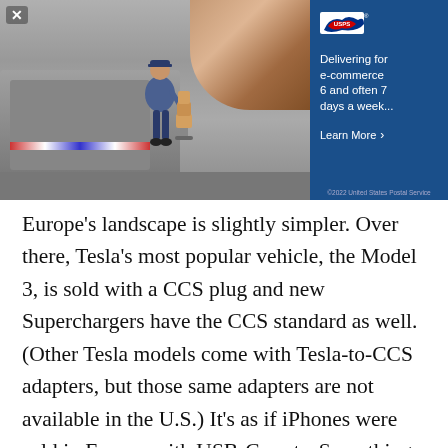[Figure (photo): USPS advertisement banner showing a mail carrier with packages next to a delivery vehicle, with a blue panel showing the USPS eagle logo and text 'Delivering for e-commerce 6 and often 7 days a week.' with a 'Learn More' button]
Europe's landscape is slightly simpler. Over there, Tesla's most popular vehicle, the Model 3, is sold with a CCS plug and new Superchargers have the CCS standard as well. (Other Tesla models come with Tesla-to-CCS adapters, but those same adapters are not available in the U.S.) It's as if iPhones were sold in Europe with USB-C ports. Something, by the way, the European Commission is also trying to make happen.